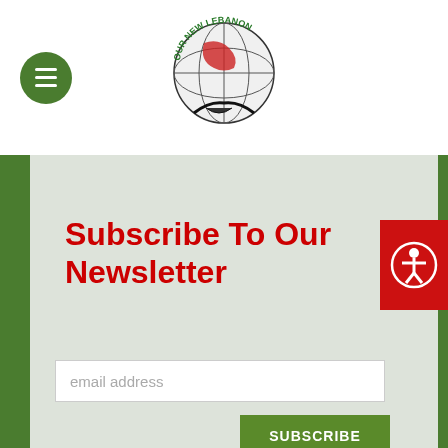[Figure (logo): Our New Lebanon organization logo — globe with green text around it and handshake at bottom]
Subscribe To Our Newsletter
[Figure (illustration): Red accessibility icon button showing person in circle on red background]
email address
SUBSCRIBE